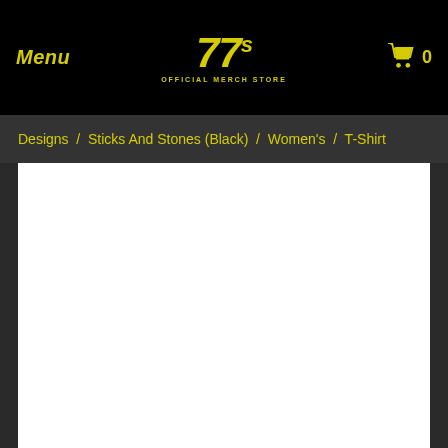Menu | 77s OFFICIAL MERCH STORE | 0
Designs / Sticks And Stones (Black) / Women's / T-Shirt
[Figure (photo): White blank area representing a product image placeholder for a T-Shirt]